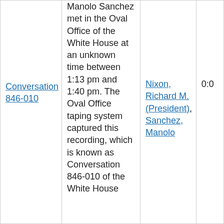| Conversation 846-010 | Manolo Sanchez met in the Oval Office of the White House at an unknown time between 1:13 pm and 1:40 pm. The Oval Office taping system captured this recording, which is known as Conversation 846-010 of the White House | Nixon, Richard M. (President), Sanchez, Manolo | 0:0 |